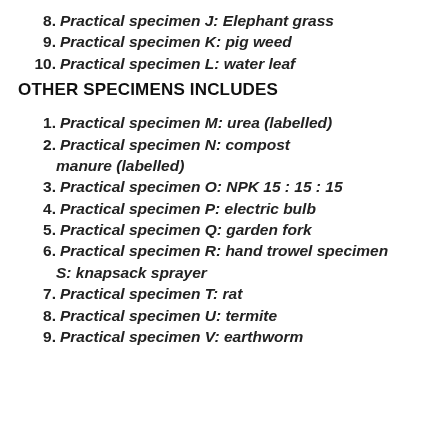8. Practical specimen J: Elephant grass
9. Practical specimen K: pig weed
10. Practical specimen L: water leaf
OTHER SPECIMENS INCLUDES
1. Practical specimen M: urea (labelled)
2. Practical specimen N: compost manure (labelled)
3. Practical specimen O: NPK 15 : 15 : 15
4. Practical specimen P: electric bulb
5. Practical specimen Q: garden fork
6. Practical specimen R: hand trowel specimen S: knapsack sprayer
7. Practical specimen T: rat
8. Practical specimen U: termite
9. Practical specimen V: earthworm